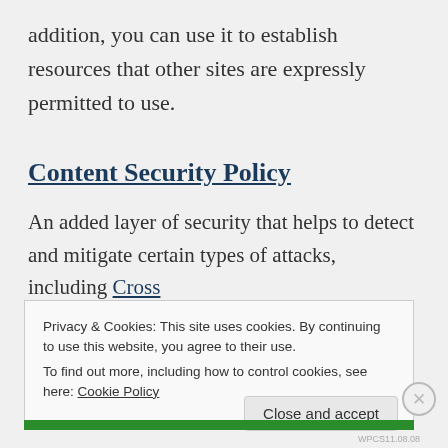addition, you can use it to establish resources that other sites are expressly permitted to use.
Content Security Policy
An added layer of security that helps to detect and mitigate certain types of attacks, including Cross
Privacy & Cookies: This site uses cookies. By continuing to use this website, you agree to their use.
To find out more, including how to control cookies, see here: Cookie Policy
Close and accept